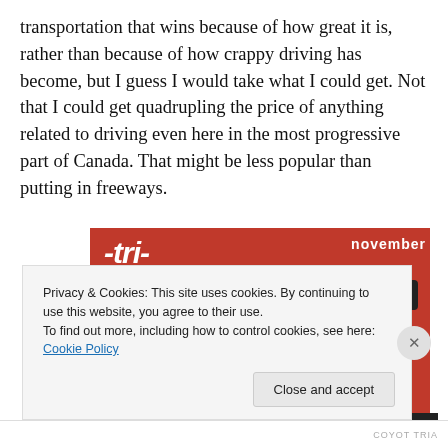transportation that wins because of how great it is, rather than because of how crappy driving has become, but I guess I would take what I could get. Not that I could get quadrupling the price of anything related to driving even here in the most progressive part of Canada. That might be less popular than putting in freeways.
[Figure (screenshot): Advertisement screenshot showing a smartphone on a red background with text '-tri-buted' and a 'Download now' button, with podcast app UI visible on phone screen.]
Privacy & Cookies: This site uses cookies. By continuing to use this website, you agree to their use.
To find out more, including how to control cookies, see here: Cookie Policy